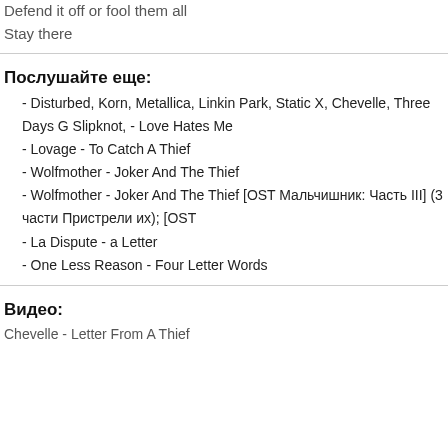Defend it off or fool them all
Stay there
Послушайте еще:
- Disturbed, Korn, Metallica, Linkin Park, Static X, Chevelle, Three Days G Slipknot, - Love Hates Me
- Lovage - To Catch A Thief
- Wolfmother - Joker And The Thief
- Wolfmother - Joker And The Thief [OST Мальчишник: Часть III] (3 части Пристрели их); [OST
- La Dispute - a Letter
- One Less Reason - Four Letter Words
Видео:
Chevelle - Letter From A Thief